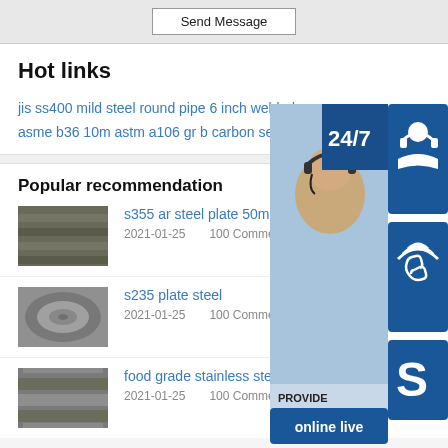Send Message
Hot links
jis ss400 mild steel round pipe 6 inch welded c…
asme b36 10m astm a106 gr b carbon seamles…
Popular recommendation
s355 ar steel plate 50mm thick
2021-01-25    100 Comment
s235 plate steel
2021-01-25    100 Comment
food grade stainless steel tube sizes
2021-01-25    100 Comment
[Figure (infographic): Customer service widget with 24/7 badge, headset icon, phone icon, Skype icon, and 'online live' button overlaid on photo of woman with headset]